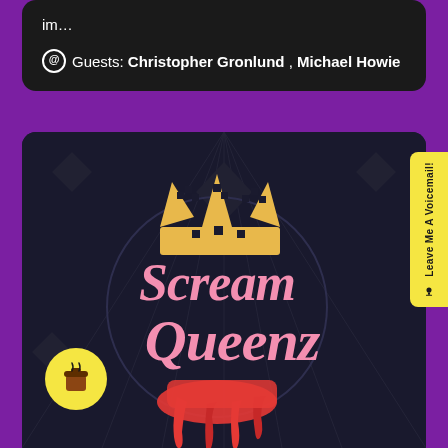im…
Guests: Christopher Gronlund , Michael Howie
[Figure (logo): Scream Queenz podcast logo with pink cursive text, gold crown, and red/coral dripping effect on dark background]
Leave Me A Voicemail!